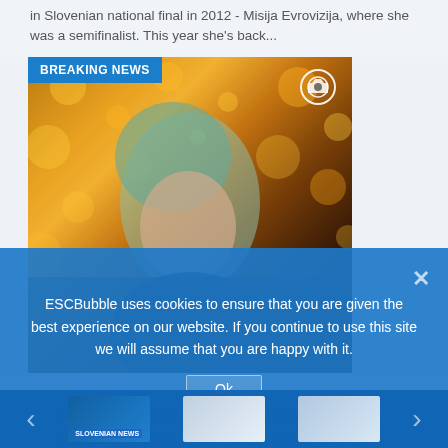in Slovenian national final in 2012 - Misija Evrovizija, where she was a semifinalist. This year she's back...
[Figure (photo): Photo of Anja Kotar with blue-green hair against a bokeh golden light background, with a BREAKING NEWS banner overlay and camera icon]
Anja Kotar: “I’m ambitious, determined, and exuberant!”
JAN VEHAR • Jan 14, 2016
A couple of days ago RTVSLO announced the names of the participants of EMA 2016, where the Slovenian audience will choose the Slovenian
ESCBubble uses cookies to ensure that you are given the best experience on our website. If you continue to use this site we will assume that you are happy with it.